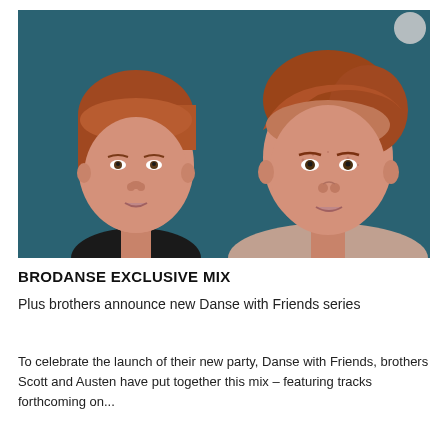[Figure (photo): Two red-haired brothers photographed against a dark teal background. The left brother faces the camera with short hair; the right brother has longer swept-back hair and freckles.]
BRODANSE EXCLUSIVE MIX
Plus brothers announce new Danse with Friends series
To celebrate the launch of their new party, Danse with Friends, brothers Scott and Austen have put together this mix – featuring tracks forthcoming on...